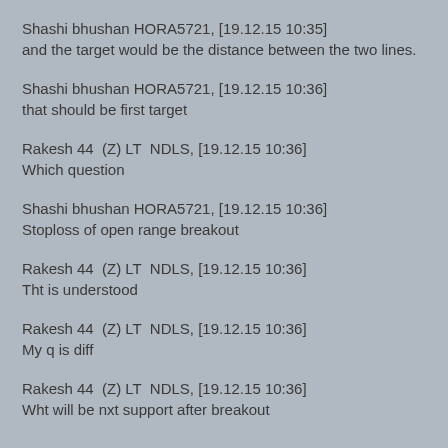Shashi bhushan HORA5721, [19.12.15 10:35]
and the target would be the distance between the two lines.
Shashi bhushan HORA5721, [19.12.15 10:36]
that should be first target
Rakesh 44  (Z) LT  NDLS, [19.12.15 10:36]
Which question
Shashi bhushan HORA5721, [19.12.15 10:36]
Stoploss of open range breakout
Rakesh 44  (Z) LT  NDLS, [19.12.15 10:36]
Tht is understood
Rakesh 44  (Z) LT  NDLS, [19.12.15 10:36]
My q is diff
Rakesh 44  (Z) LT  NDLS, [19.12.15 10:36]
Wht will be nxt support after breakout